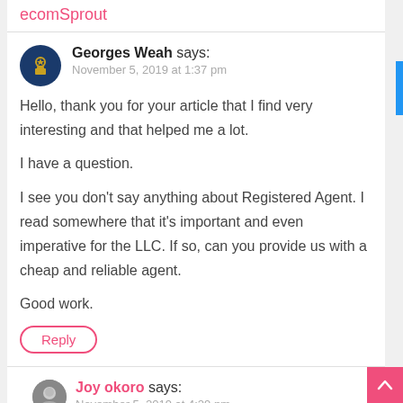ecomSprout
Georges Weah says:
November 5, 2019 at 1:37 pm
Hello, thank you for your article that I find very interesting and that helped me a lot.
I have a question.
I see you don't say anything about Registered Agent. I read somewhere that it's important and even imperative for the LLC. If so, can you provide us with a cheap and reliable agent.
Good work.
Reply
Joy okoro says:
November 5, 2019 at 4:29 pm